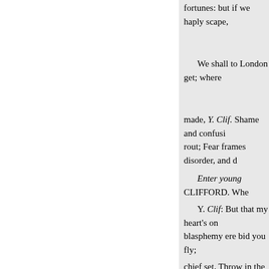fortunes: but if we haply scape,
We shall to London get; where
made, Y. Clif. Shame and confusi— rout; Fear frames disorder, and d—
Enter young CLIFFORD. Whe—
Y. Clif: But that my heart's on— blasphemy ere bid you fly;
chief set, Throw in the frozen bo—
But fly you must; uncurable di—
Reigos in the hearts of all our— relief! and we will live Hath not—
To see their day, and them our— away!
[Exeunt. end,
(Seeing his dead Father. And t—